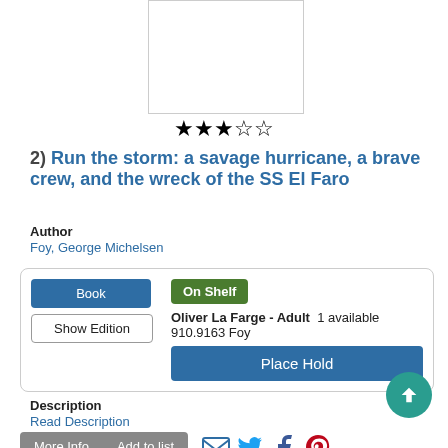[Figure (illustration): Book cover image placeholder, white rectangle with gray border]
[Figure (other): Star rating: 3 out of 5 stars (3 filled yellow stars, 2 empty)]
2) Run the storm: a savage hurricane, a brave crew, and the wreck of the SS El Faro
Author
Foy, George Michelsen
Book
Show Edition
On Shelf
Oliver La Farge - Adult  1 available
910.9163 Foy
Place Hold
Description
Read Description
More Info
Add to list